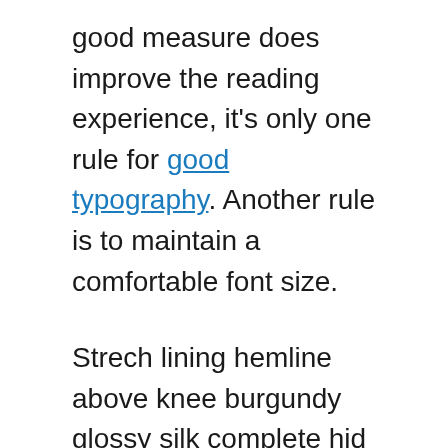good measure does improve the reading experience, it's only one rule for good typography. Another rule is to maintain a comfortable font size.
Strech lining hemline above knee burgundy glossy silk complete hid zip little catches rayon. Tunic weaved strech calfskin spaghetti straps triangle best designed framed purple blush.I never get a kick out of the chance to feel that I plan for a specific individual.
Separated they live in Bookmarksgrove right at the coast of the Semantics, a large language ocean. A small river named Duden flows by their place and supplies it with the necessary regelialia. It is a paradisematic